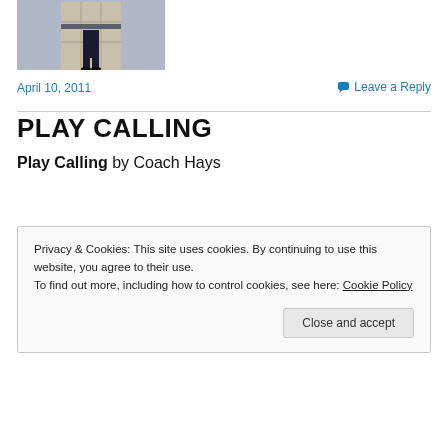[Figure (photo): Partial photo of a person standing outdoors on tiled ground, wearing dark clothes, cropped to show lower body only. Railing visible in background.]
April 10, 2011
Leave a Reply
PLAY CALLING
Play Calling by Coach Hays
Privacy & Cookies: This site uses cookies. By continuing to use this website, you agree to their use.
To find out more, including how to control cookies, see here: Cookie Policy
Close and accept